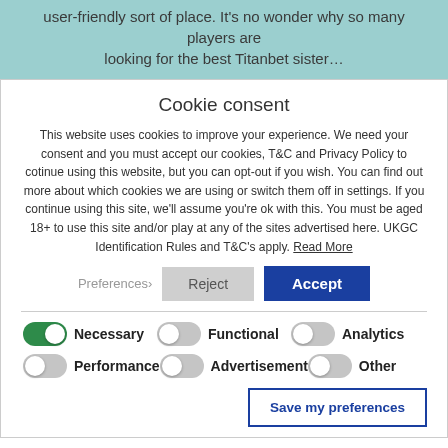user-friendly sort of place. It's no wonder why so many players are looking for the best Titanbet sister…
Cookie consent
This website uses cookies to improve your experience. We need your consent and you must accept our cookies, T&C and Privacy Policy to cotinue using this website, but you can opt-out if you wish. You can find out more about which cookies we are using or switch them off in settings. If you continue using this site, we'll assume you're ok with this. You must be aged 18+ to use this site and/or play at any of the sites advertised here. UKGC Identification Rules and T&C's apply. Read More
Preferences  Reject  Accept
Necessary  Functional  Analytics  Performance  Advertisement  Other
Save my preferences